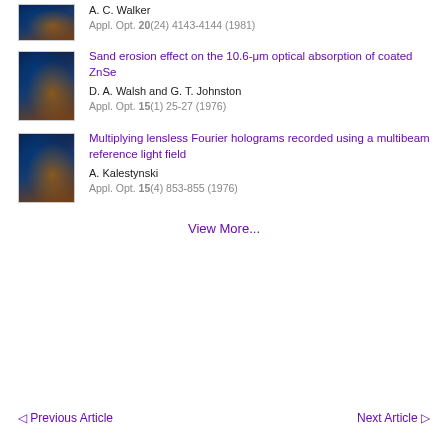A. C. Walker
Appl. Opt. 20(24) 4143-4144 (1981)
[Figure (photo): Journal cover thumbnail for Applied Optics]
Sand erosion effect on the 10.6-μm optical absorption of coated ZnSe
D. A. Walsh and G. T. Johnston
Appl. Opt. 15(1) 25-27 (1976)
[Figure (photo): Journal cover thumbnail for Applied Optics]
Multiplying lensless Fourier holograms recorded using a multibeam reference light field
A. Kalestynski
Appl. Opt. 15(4) 853-855 (1976)
View More...
◁ Previous Article
Next Article ▷